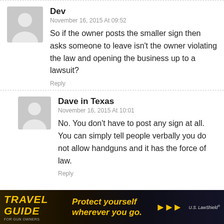Dev
November 16, 2015 At 09:52
So if the owner posts the smaller sign then asks someone to leave isn't the owner violating the law and opening the business up to a lawsuit?
Reply
Dave in Texas
November 16, 2015 At 10:01
No. You don't have to post any sign at all. You can simply tell people verbally you do not allow handguns and it has the force of law.
Reply
[Figure (infographic): Travel Guide for Gun Owners advertisement banner. Yellow text 'TRAVEL GUIDE' on dark background with 'Protect yourself wherever you go.' tagline and U.S. LawShield branding with yellow arrows.]